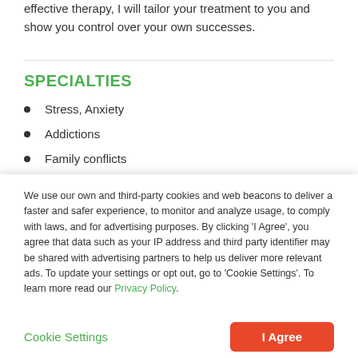effective therapy, I will tailor your treatment to you and show you control over your own successes.
SPECIALTIES
Stress, Anxiety
Addictions
Family conflicts
Trauma and abuse
Depression
We use our own and third-party cookies and web beacons to deliver a faster and safer experience, to monitor and analyze usage, to comply with laws, and for advertising purposes. By clicking 'I Agree', you agree that data such as your IP address and third party identifier may be shared with advertising partners to help us deliver more relevant ads. To update your settings or opt out, go to 'Cookie Settings'. To learn more read our Privacy Policy.
Cookie Settings
I Agree